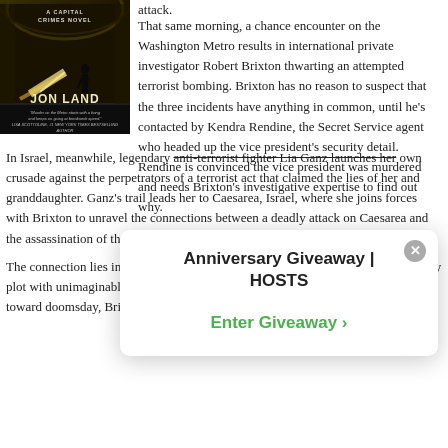[Figure (photo): Book cover of 'A Capital Crimes Novel' by Jon Land, showing a Washington Metro scene with a figure and oncoming train light trails, dark atmospheric image.]
attack.
That same morning, a chance encounter on the Washington Metro results in international private investigator Robert Brixton thwarting an attempted terrorist bombing. Brixton has no reason to suspect that the three incidents have anything in common, until he's contacted by Kendra Rendine, the Secret Service agent who headed up the vice president's security detail. Rendine is convinced the vice president was murdered and needs Brixton's investigative expertise to find out why.
In Israel, meanwhile, legendary anti-terrorist fighter Lia Ganz launches her own crusade against the perpetrators of a terrorist act that claimed the lives of her and granddaughter. Ganz's trail leads her to Caesarea, Israel, where she joins forces with Brixton to unravel the connections between a deadly attack on Caesarea and the assassination of the vice president.
[Figure (screenshot): Modal popup overlay showing 'Anniversary Giveaway | HOSTS' with an 'Enter Giveaway >' green button and an X close button.]
The connection lies in the highest corridors of power in Washington where a deadly plot with unimaginable consequences has been hatched. With the clock ticking toward doomsday, Brixton and Ganz race against time to save millions of